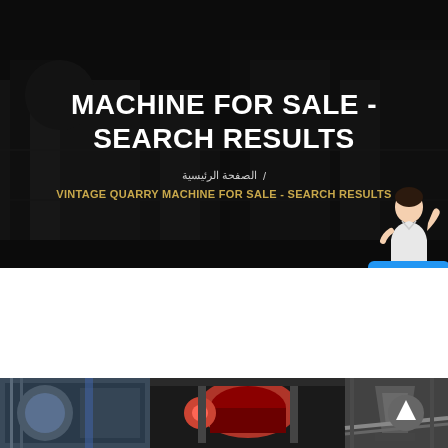[Figure (photo): Dark industrial background with machinery, overlaid with semi-transparent dark overlay]
MACHINE FOR SALE - SEARCH RESULTS
الصفحة الرئيسية / VINTAGE QUARRY MACHINE FOR SALE - SEARCH RESULTS
[Figure (photo): Free chat widget with customer service avatar and blue chat box button]
[Figure (photo): Strip of quarry machine images showing industrial crushing equipment in factory settings, with a scroll-up button on the right]